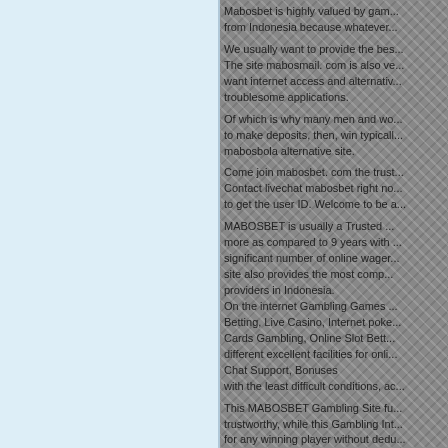Mabosbet is highly valued by gam... from Indonesia because whatever...
We usually want to provide the bes... The site mabosmail. com is also ve... want internet access and alternativ... troublesome applications.
Of which is why many men and wo... to make deposits, then, win typicall... mabosbola alternative site.
Come join mabosbet. com the trust... Contact livechat mabosbet right no... to get the user ID. Welcome to be a...
MABOSBET is usually a Trusted ... more as compared to 9 years with ... significant number of online wager... site also provides the most comp... providers in Indonesia.
On the internet Gambling Games ... Betting, Live Casino, Internet poke... Cards Gambling, Online Slot Bett... different excellent facilities for onli... Chat Support, Bonuses with the least difficult conditions, ac...
This MABOSBET Gambling Site fu... trustworthy, while this Gambling Int... for any winning player without dedu...
So you will play gambling comforta... In addition to a new definite win at... offer additional bonuses to provide... online gambling.